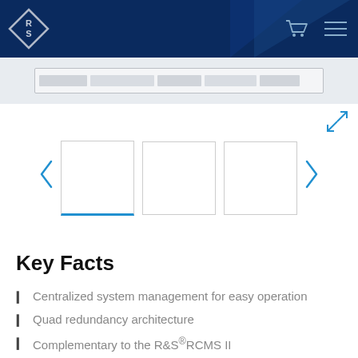[Figure (logo): Rohde & Schwarz diamond logo in white on dark blue header background]
[Figure (screenshot): Partial screenshot of software interface showing a toolbar/menu bar]
[Figure (screenshot): Carousel of three thumbnail image placeholders with navigation arrows]
Key Facts
Centralized system management for easy operation
Quad redundancy architecture
Complementary to the R&S®RCMS II
Strong security
Available as hardware or as a virtual package